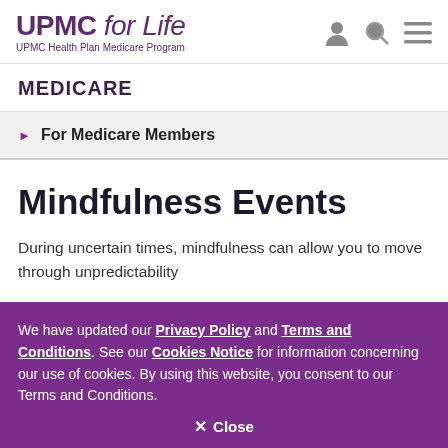UPMC for Life – UPMC Health Plan Medicare Program
MEDICARE
For Medicare Members
Mindfulness Events
During uncertain times, mindfulness can allow you to move through unpredictability
We have updated our Privacy Policy and Terms and Conditions. See our Cookies Notice for information concerning our use of cookies. By using this website, you consent to our Terms and Conditions. Close